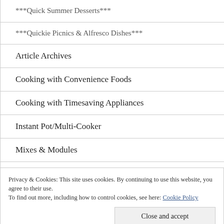***Quick Summer Desserts***
***Quickie Picnics & Alfresco Dishes***
Article Archives
Cooking with Convenience Foods
Cooking with Timesaving Appliances
Instant Pot/Multi-Cooker
Mixes & Modules
Product Reviews
Quick and Easy Holiday Cooking
Privacy & Cookies: This site uses cookies. By continuing to use this website, you agree to their use.
To find out more, including how to control cookies, see here: Cookie Policy
Close and accept